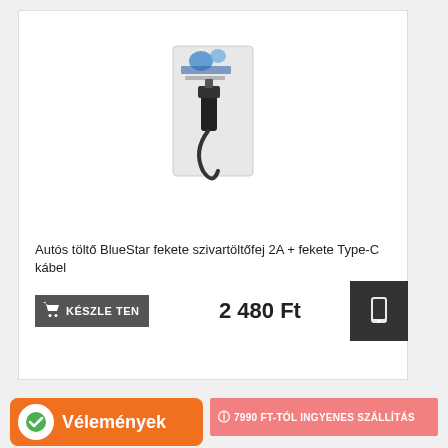[Figure (photo): Product photo of BlueStar car charger with Type-C cable in packaging]
Autós töltő BlueStar fekete szivartöltőfej 2A + fekete Type-C kábel
KÉSZLETEN
2 480 Ft
7990 FT-TÓL INGYENES SZÁLLÍTÁS
Vélemények